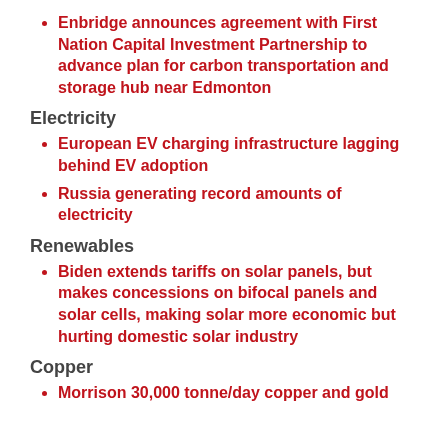Enbridge announces agreement with First Nation Capital Investment Partnership to advance plan for carbon transportation and storage hub near Edmonton
Electricity
European EV charging infrastructure lagging behind EV adoption
Russia generating record amounts of electricity
Renewables
Biden extends tariffs on solar panels, but makes concessions on bifocal panels and solar cells, making solar more economic but hurting domestic solar industry
Copper
Morrison 30,000 tonne/day copper and gold